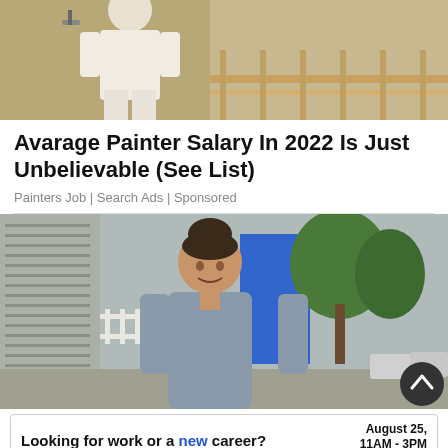[Figure (photo): Top portion of image showing a painter in white clothing on a staircase/balcony area]
Avarage Painter Salary In 2022 Is Just Unbelievable (See List)
Painters Job | Search Ads | Sponsored
[Figure (photo): Woman with dark hair in a bun, smiling, wearing a grey shirt, standing outside in front of a building with trees and a street visible in the background]
[Figure (infographic): Advertisement banner: Looking for work or a new career? August 25, 11AM - 3PM. Featuring 25+ Exhibitors and Growing! CLICK HERE]